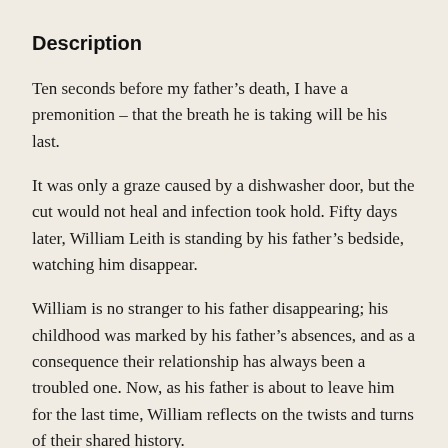Description
Ten seconds before my father’s death, I have a premonition – that the breath he is taking will be his last.
It was only a graze caused by a dishwasher door, but the cut would not heal and infection took hold. Fifty days later, William Leith is standing by his father’s bedside, watching him disappear.
William is no stranger to his father disappearing; his childhood was marked by his father’s absences, and as a consequence their relationship has always been a troubled one. Now, as his father is about to leave him for the last time, William reflects on the twists and turns of their shared history.
Compelling, incisive, and told with searing honesty, The Cut that Wouldn’t Heal is about family and grief, and the pain of abandonment. It is about the way we let our loved ones down and the things we cannot say. It is about the act of disappearing – but also about how we might be able to reach